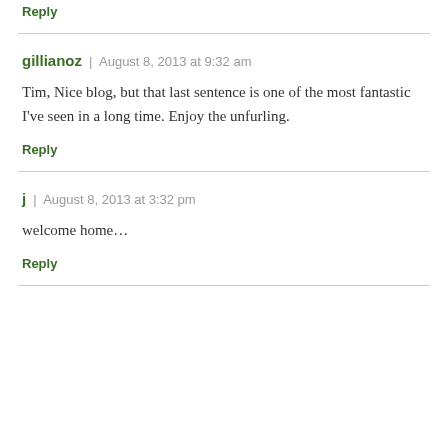Reply
gillianoz | August 8, 2013 at 9:32 am
Tim, Nice blog, but that last sentence is one of the most fantastic I've seen in a long time. Enjoy the unfurling.
Reply
j | August 8, 2013 at 3:32 pm
welcome home…
Reply